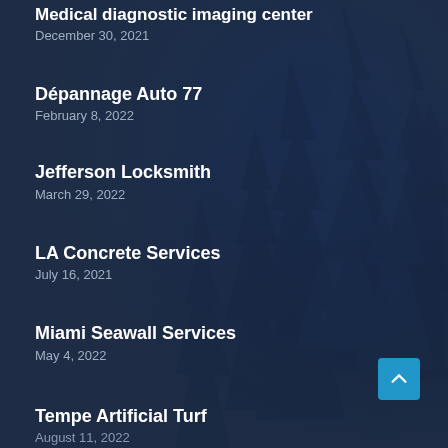Medical diagnostic imaging center
December 30, 2021
Dépannage Auto 77
February 8, 2022
Jefferson Locksmith
March 29, 2022
LA Concrete Services
July 16, 2021
Miami Seawall Services
May 4, 2022
Tempe Artificial Turf
August 11, 2022